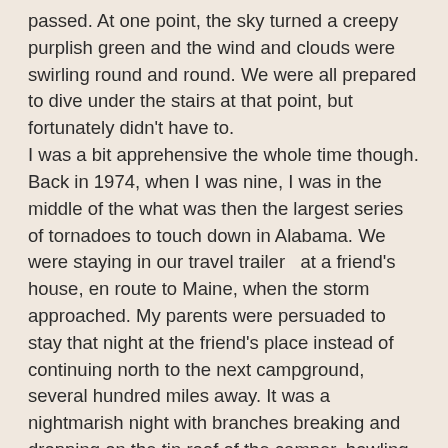passed. At one point, the sky turned a creepy purplish green and the wind and clouds were swirling round and round. We were all prepared to dive under the stairs at that point, but fortunately didn't have to. I was a bit apprehensive the whole time though. Back in 1974, when I was nine, I was in the middle of the what was then the largest series of tornadoes to touch down in Alabama. We were staying in our travel trailer  at a friend's house, en route to Maine, when the storm approached. My parents were persuaded to stay that night at the friend's place instead of continuing north to the next campground, several hundred miles away. It was a nightmarish night with branches breaking and dropping on the tin roof of the camper, howling winds, heavy rain, etc. The next day, we did continue on our journey. We went past the campground where we would have stayed if not for the storm. The whole place was flattened and several people were dead. Add to that the fact that in 1998, I was struck by lightning while inside the house-- the bolt hit me on the right foot, travelled up my right leg, crossed my chest, shot down my left arm and flew off my left index finger as a flash of blue light--and it makes sense that this kind of a storm would